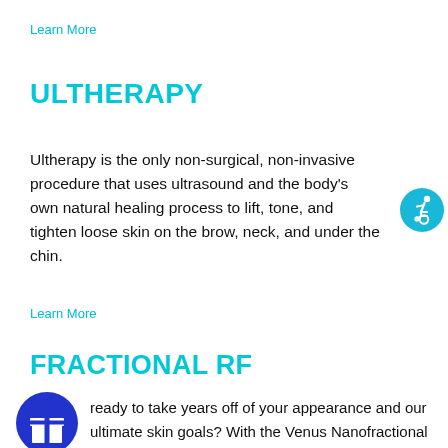Learn More
ULTHERAPY
Ultherapy is the only non-surgical, non-invasive procedure that uses ultrasound and the body's own natural healing process to lift, tone, and tighten loose skin on the brow, neck, and under the chin.
[Figure (illustration): Wheelchair accessibility icon — white wheelchair user symbol on a teal/cyan circle background]
Learn More
FRACTIONAL RF
[Figure (illustration): Gift/present icon — white gift box with bow symbol on a dark blue circle background]
ready to take years off of your appearance and our ultimate skin goals? With the Venus Nanofractional Radio Frequency treatment, you can